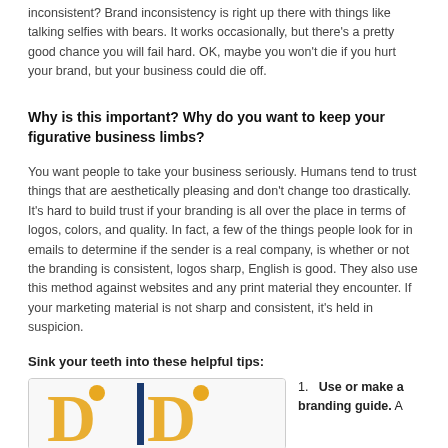inconsistent? Brand inconsistency is right up there with things like talking selfies with bears. It works occasionally, but there's a pretty good chance you will fail hard. OK, maybe you won't die if you hurt your brand, but your business could die off.
Why is this important? Why do you want to keep your figurative business limbs?
You want people to take your business seriously. Humans tend to trust things that are aesthetically pleasing and don't change too drastically. It's hard to build trust if your branding is all over the place in terms of logos, colors, and quality. In fact, a few of the things people look for in emails to determine if the sender is a real company, is whether or not the branding is consistent, logos sharp, English is good. They also use this method against websites and any print material they encounter. If your marketing material is not sharp and consistent, it's held in suspicion.
Sink your teeth into these helpful tips:
[Figure (logo): Logo image showing stylized letters with yellow/orange coloring and a vertical blue bar, appearing to be a business branding logo]
1. Use or make a branding guide. A